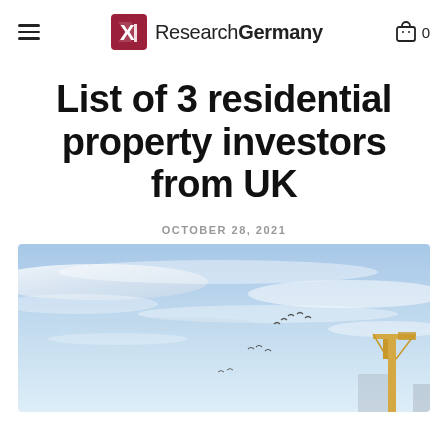ResearchGermany
List of 3 residential property investors from UK
OCTOBER 28, 2021
[Figure (photo): Outdoor photo with blue sky, wispy clouds, birds in flight, and a construction crane partially visible in the lower right corner.]